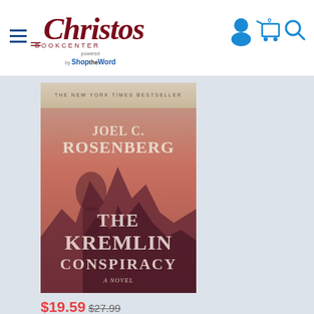[Figure (logo): Christos Bookcenter logo with hamburger menu icon and 'powered by ShoptheWord' tagline]
[Figure (infographic): User account icon, shopping cart with 0 items indicator, and search magnifying glass icon in blue]
[Figure (photo): Book cover of 'The Kremlin Conspiracy' by Joel C. Rosenberg, a novel. Pink/red atmospheric cover with dark silhouettes of spired buildings and a shadowy figure. tagline: The New York Times Bestseller.]
$19.59 $27.99